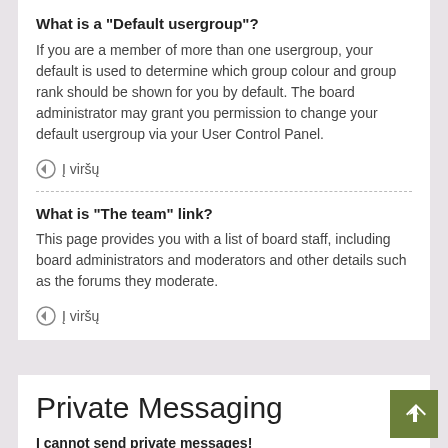What is a “Default usergroup”?
If you are a member of more than one usergroup, your default is used to determine which group colour and group rank should be shown for you by default. The board administrator may grant you permission to change your default usergroup via your User Control Panel.
Ĩ viršų
What is “The team” link?
This page provides you with a list of board staff, including board administrators and moderators and other details such as the forums they moderate.
Ĩ viršų
Private Messaging
I cannot send private messages!